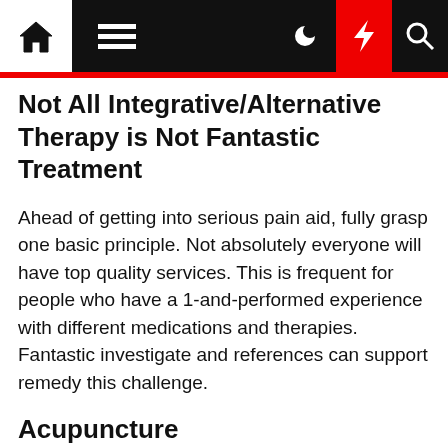Navigation bar with home, menu, moon, flash, and search icons
Not All Integrative/Alternative Therapy is Not Fantastic Treatment
Ahead of getting into serious pain aid, fully grasp one basic principle. Not absolutely everyone will have top quality services. This is frequent for people who have a 1-and-performed experience with different medications and therapies. Fantastic investigate and references can support remedy this challenge.
Acupuncture
According to the Earth Well being Business, acupuncture is unbelievable because it can support alleviate ache for 30 diseases. It's also 1 of the most intriguing methods for ache relief. Certified therapists can encourage the close by nerves and launch…